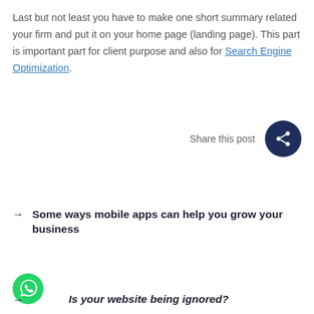Last but not least you have to make one short summary related your firm and put it on your home page (landing page). This part is important part for client purpose and also for Search Engine Optimization.
[Figure (other): Share this post button with dark navy circular share icon]
Some ways mobile apps can help you grow your business
[Figure (logo): WhatsApp green circular logo icon]
Is your website being ignored?